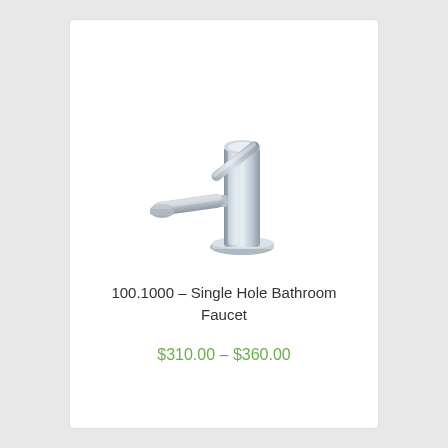[Figure (photo): A chrome single hole bathroom faucet with a cylindrical body and single lever handle, shown from a side-angle view on a white background.]
100.1000 – Single Hole Bathroom Faucet
$310.00 – $360.00